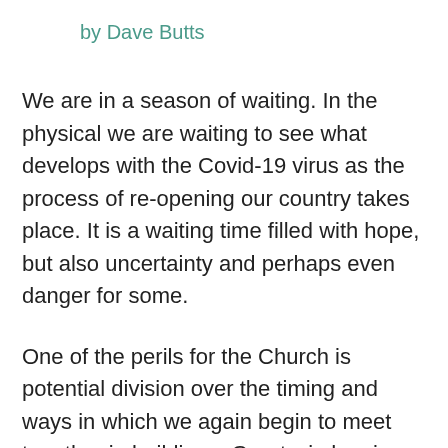by Dave Butts
We are in a season of waiting. In the physical we are waiting to see what develops with the Covid-19 virus as the process of re-opening our country takes place. It is a waiting time filled with hope, but also uncertainty and perhaps even danger for some.
One of the perils for the Church is potential division over the timing and ways in which we again begin to meet together in buildings. Great wisdom is required for leaders, and only deep humility will cause us to lay down our preferences in honor of one another. Physical waiting causes angst, anger and frustration for many; however, to those of us